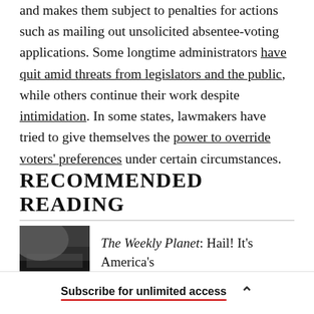and makes them subject to penalties for actions such as mailing out unsolicited absentee-voting applications. Some longtime administrators have quit amid threats from legislators and the public, while others continue their work despite intimidation. In some states, lawmakers have tried to give themselves the power to override voters' preferences under certain circumstances.
RECOMMENDED READING
The Weekly Planet: Hail! It's America's
Subscribe for unlimited access